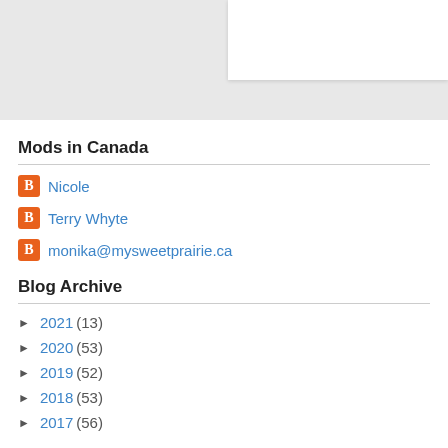[Figure (other): Gray banner area at top with a white card element in the upper right corner]
Mods in Canada
Nicole
Terry Whyte
monika@mysweetprairie.ca
Blog Archive
► 2021 (13)
► 2020 (53)
► 2019 (52)
► 2018 (53)
► 2017 (56)